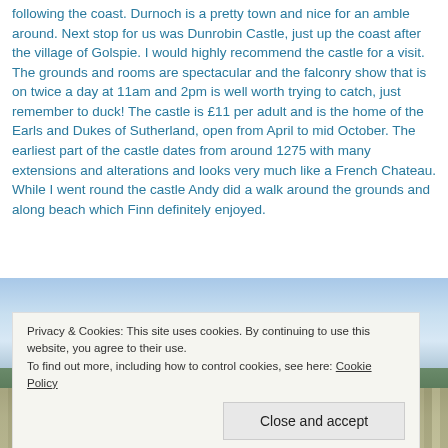following the coast. Durnoch is a pretty town and nice for an amble around. Next stop for us was Dunrobin Castle, just up the coast after the village of Golspie. I would highly recommend the castle for a visit. The grounds and rooms are spectacular and the falconry show that is on twice a day at 11am and 2pm is well worth trying to catch, just remember to duck! The castle is £11 per adult and is the home of the Earls and Dukes of Sutherland, open from April to mid October. The earliest part of the castle dates from around 1275 with many extensions and alterations and looks very much like a French Chateau.
While I went round the castle Andy did a walk around the grounds and along beach which Finn definitely enjoyed.
[Figure (photo): Photo of Dunrobin Castle area, showing sky at top and castle/grounds at bottom, partially obscured by cookie banner]
Privacy & Cookies: This site uses cookies. By continuing to use this website, you agree to their use.
To find out more, including how to control cookies, see here: Cookie Policy
Close and accept